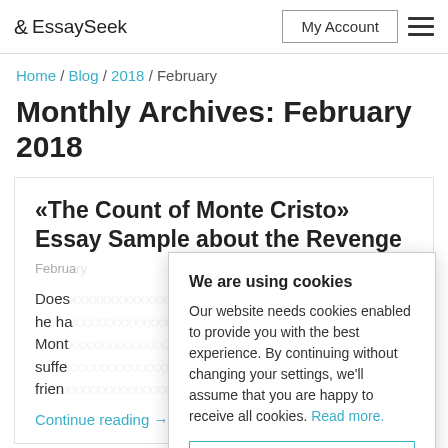EssaySeek | My Account
Home / Blog / 2018 / February
Monthly Archives: February 2018
«The Count of Monte Cristo» Essay Sample about the Revenge
February
Does ... ? Is he ha... of Mont... suffer... friend...
Continue reading →
We are using cookies
Our website needs cookies enabled to provide you with the best experience. By continuing without changing your settings, we'll assume that you are happy to receive all cookies. Read more.
IT'S OK